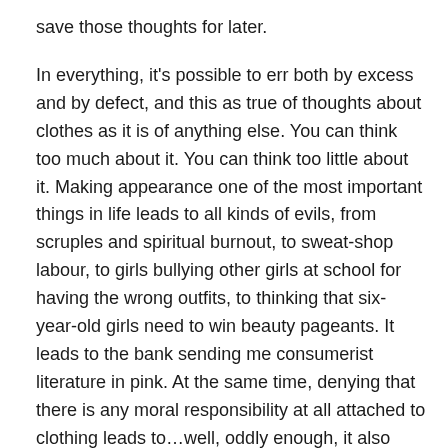save those thoughts for later.
In everything, it's possible to err both by excess and by defect, and this as true of thoughts about clothes as it is of anything else. You can think too much about it. You can think too little about it. Making appearance one of the most important things in life leads to all kinds of evils, from scruples and spiritual burnout, to sweat-shop labour, to girls bullying other girls at school for having the wrong outfits, to thinking that six-year-old girls need to win beauty pageants. It leads to the bank sending me consumerist literature in pink. At the same time, denying that there is any moral responsibility at all attached to clothing leads to…well, oddly enough, it also leads to no one caring about the sweat-shop labour or the bullying or the selling of lingerie to six-year-old girls.